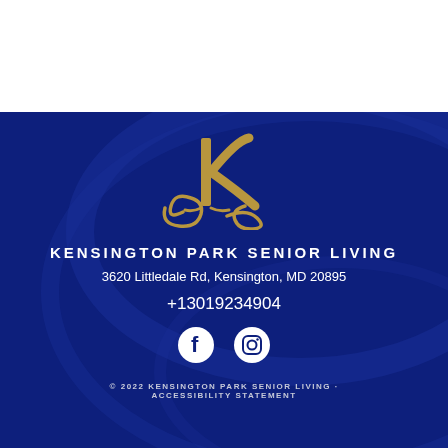[Figure (logo): Kensington Park Senior Living stylized K logo in gold on dark blue background]
KENSINGTON PARK SENIOR LIVING
3620 Littledale Rd, Kensington, MD 20895
+13019234904
[Figure (illustration): Facebook and Instagram social media icons in white circles]
© 2022 KENSINGTON PARK SENIOR LIVING · ACCESSIBILITY STATEMENT